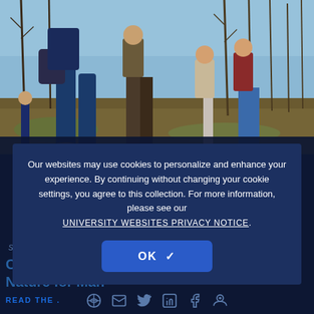[Figure (photo): Group of people walking on a wooded trail, bare winter trees in background, blue sky visible. A person in the foreground is wearing jeans and a backpack.]
Our websites may use cookies to personalize and enhance your experience. By continuing without changing your cookie settings, you agree to this collection. For more information, please see our UNIVERSITY WEBSITES PRIVACY NOTICE.
OK ✓
September
COVID Rekindled an Appreciation of Nature for Man
READ THE .